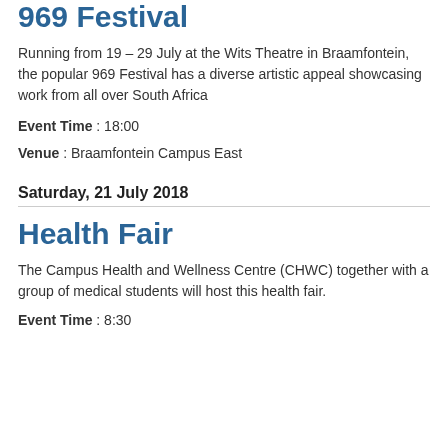969 Festival
Running from 19 – 29 July at the Wits Theatre in Braamfontein, the popular 969 Festival has a diverse artistic appeal showcasing work from all over South Africa
Event Time : 18:00
Venue : Braamfontein Campus East
Saturday, 21 July 2018
Health Fair
The Campus Health and Wellness Centre (CHWC) together with a group of medical students will host this health fair.
Event Time : 8:30